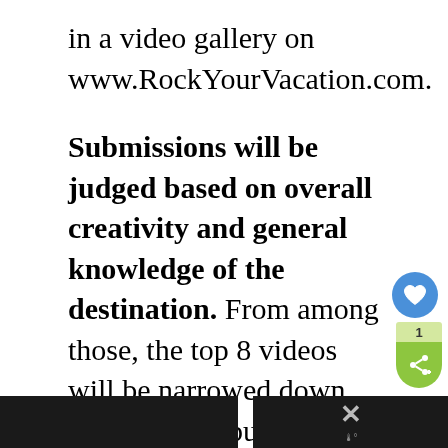in a video gallery on www.RockYourVacation.com.
Submissions will be judged based on overall creativity and general knowledge of the destination. From among those, the top 8 videos will be narrowed down throughout a public voting period of 3 weeks using a bracket system.